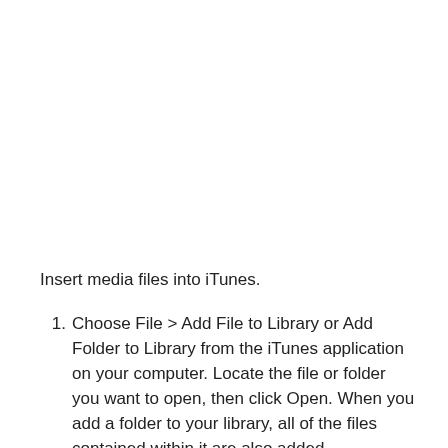Insert media files into iTunes.
Choose File > Add File to Library or Add Folder to Library from the iTunes application on your computer. Locate the file or folder you want to open, then click Open. When you add a folder to your library, all of the files contained within it are also added.